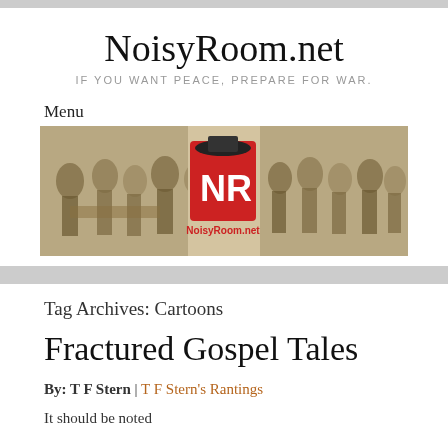NoisyRoom.net
IF YOU WANT PEACE, PREPARE FOR WAR.
Menu
[Figure (illustration): NoisyRoom.net website banner image showing historical painting of figures on left and right with the NoisyRoom.net logo (NR with a hat) in the center on a red background]
Tag Archives: Cartoons
Fractured Gospel Tales
By: T F Stern | T F Stern's Rantings
It should be noted